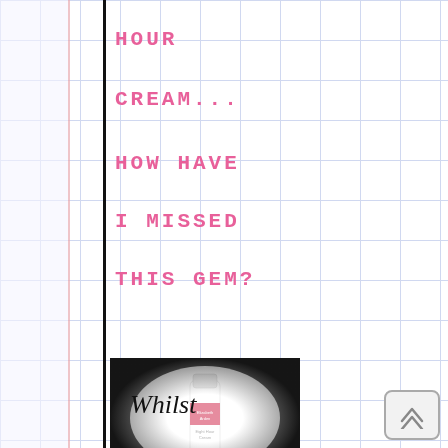HOUR
CREAM...
HOW HAVE
I MISSED
THIS GEM?
[Figure (photo): Product photo of Elizabeth Arden Eight Hour Cream tube, black and white vignette style]
Whilst
[Figure (illustration): Pink watercolor paint splash/splatter decoration on right side of page]